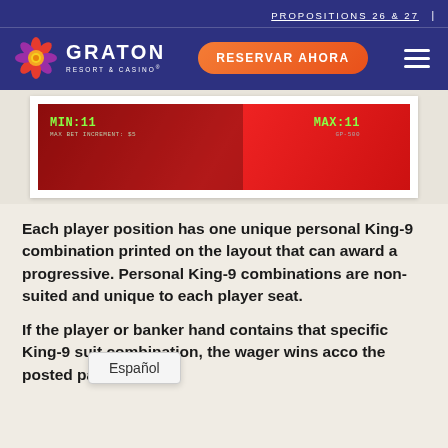PROPOSITIONS 26 & 27
[Figure (logo): Graton Resort & Casino logo with colorful flower icon and white text on dark blue background, with RESERVAR AHORA orange button and hamburger menu]
[Figure (screenshot): Casino game display showing red background with MIN:11 and MAX:11 labels in green on a screen]
Each player position has one unique personal King-9 combination printed on the layout that can award a progressive. Personal King-9 combinations are non-suited and unique to each player seat.
If the player or banker hand contains that specific King-9 suit combination, the wager wins according to the posted pay table.
Español